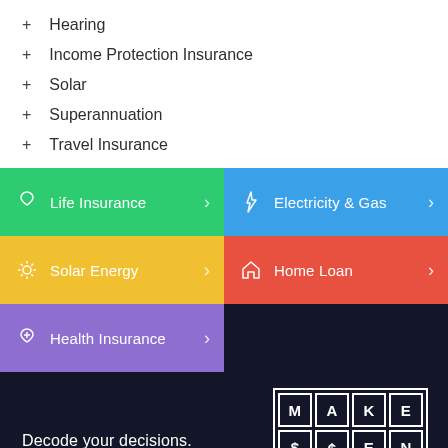+ Hearing
+ Income Protection Insurance
+ Solar
+ Superannuation
+ Travel Insurance
[Figure (infographic): Navigation grid with colored tiles: Life Insurance (green), Electricity & Gas (blue), Solar Energy (yellow), Home Loan (red), Health Insurance (purple), dark tile. Each tile has an icon and a chevron arrow.]
Decode your decisions.
[Figure (logo): MakeĀ¢Ents logo in grid of letters: M A K E $ / ¢ E N T S]